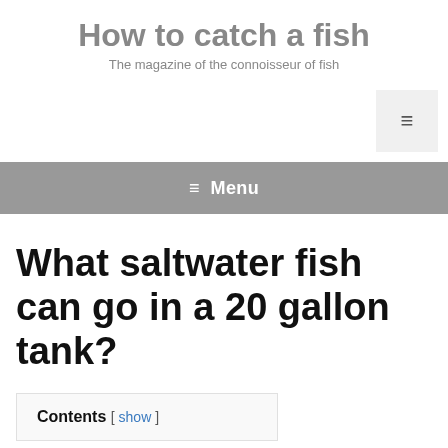How to catch a fish
The magazine of the connoisseur of fish
[Figure (other): Hamburger menu toggle button (three horizontal lines icon) in a light gray box, positioned top right]
≡ Menu
What saltwater fish can go in a 20 gallon tank?
Contents [ show ]